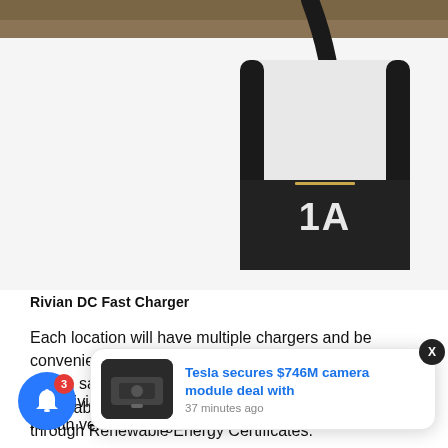[Figure (photo): Rivian DC Fast Charger unit, white and black pillar-style charger labeled '1A' against a background, partial view from above]
Rivian DC Fast Charger
Each location will have multiple chargers and be conveniently located on highways and main roads. Rivian says the network will be powered by 100% renewable energy, either directly with wind or solar, or through Renewable Energy Certificates.
The Rivian Adventure Network will only be available for Rivian vehi... ring and
[Figure (screenshot): Toast notification showing 'Tesla secures $746M camera module deal with' and '37 minutes ago', with a thumbnail of a Tesla charging port]
[Figure (other): Blue circle notification bell button with red badge showing '3']